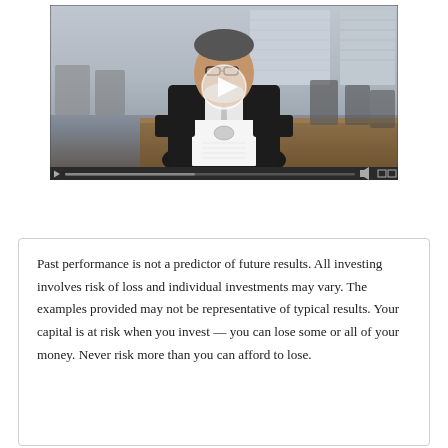[Figure (screenshot): Video screenshot of a middle-aged man in a black suit and gray tie, holding a white document with a seal/logo, standing in a conference room. A video player play button overlay is visible in the center. Video controls bar at the bottom.]
Past performance is not a predictor of future results. All investing involves risk of loss and individual investments may vary. The examples provided may not be representative of typical results. Your capital is at risk when you invest — you can lose some or all of your money. Never risk more than you can afford to lose.